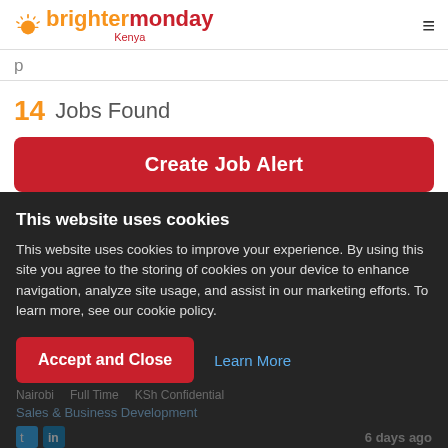[Figure (logo): BrighterMonday Kenya logo with sun icon]
14  Jobs Found
Create Job Alert
This website uses cookies
This website uses cookies to improve your experience. By using this site you agree to the storing of cookies on your device to enhance navigation, analyze site usage, and assist in our marketing efforts. To learn more, see our cookie policy.
Nairobi  Full Time  KSh Confidential
Sales & Business Development
6 days ago
Accept and Close
Learn More